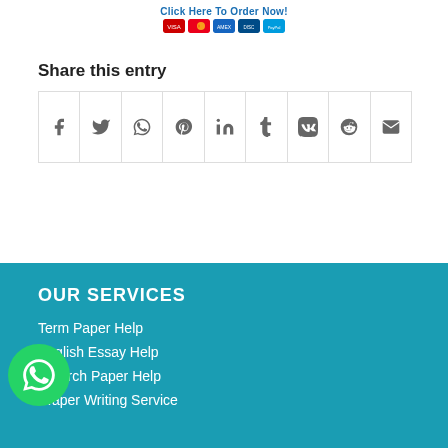[Figure (screenshot): Click Here To Order Now button with payment icons]
Share this entry
[Figure (infographic): Social media share icons grid: Facebook, Twitter, WhatsApp, Pinterest, LinkedIn, Tumblr, VK, Reddit, Email]
OUR SERVICES
Term Paper Help
English Essay Help
Research Paper Help
Paper Writing Service